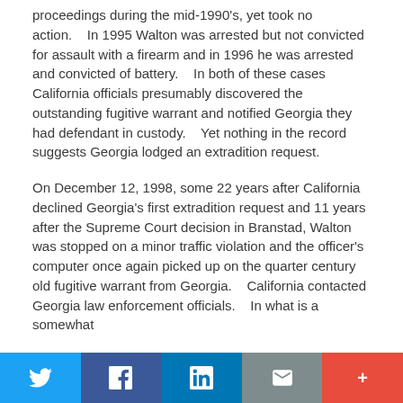proceedings during the mid-1990's, yet took no action.    In 1995 Walton was arrested but not convicted for assault with a firearm and in 1996 he was arrested and convicted of battery.    In both of these cases California officials presumably discovered the outstanding fugitive warrant and notified Georgia they had defendant in custody.    Yet nothing in the record suggests Georgia lodged an extradition request.
On December 12, 1998, some 22 years after California declined Georgia's first extradition request and 11 years after the Supreme Court decision in Branstad, Walton was stopped on a minor traffic violation and the officer's computer once again picked up on the quarter century old fugitive warrant from Georgia.    California contacted Georgia law enforcement officials.    In what is a somewhat
Twitter | Facebook | LinkedIn | Email | More